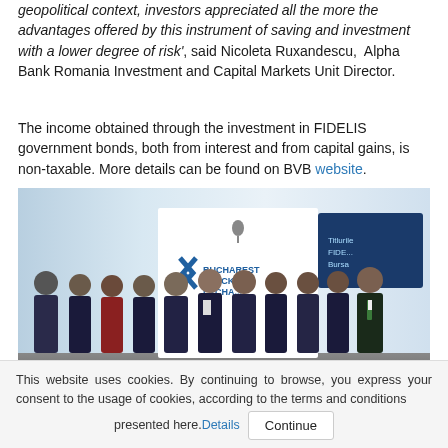geopolitical context, investors appreciated all the more the advantages offered by this instrument of saving and investment with a lower degree of risk', said Nicoleta Ruxandescu, Alpha Bank Romania Investment and Capital Markets Unit Director.
The income obtained through the investment in FIDELIS government bonds, both from interest and from capital gains, is non-taxable. More details can be found on BVB website.
[Figure (photo): Group photo of approximately 12 people in business attire standing in front of a Bucharest Stock Exchange backdrop, with a screen showing FIDELIS bonds information]
This website uses cookies. By continuing to browse, you express your consent to the usage of cookies, according to the terms and conditions presented here. Details Continue